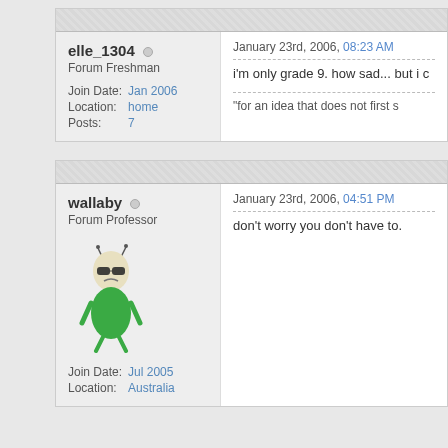elle_1304 ○
Forum Freshman
| Join Date: | Jan 2006 |
| Location: | home |
| Posts: | 7 |
January 23rd, 2006, 08:23 AM
i'm only grade 9. how sad... but i c
"for an idea that does not first s
wallaby ○
Forum Professor
[Figure (illustration): Cartoon avatar of a grumpy looking green character with sunglasses and antenna]
| Join Date: | Jul 2005 |
| Location: | Australia |
January 23rd, 2006, 04:51 PM
don't worry you don't have to.